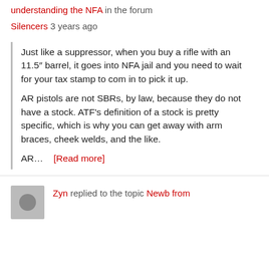understanding the NFA in the forum
Silencers 3 years ago
Just like a suppressor, when you buy a rifle with an 11.5" barrel, it goes into NFA jail and you need to wait for your tax stamp to com in to pick it up.

AR pistols are not SBRs, by law, because they do not have a stock. ATF’s definition of a stock is pretty specific, which is why you can get away with arm braces, cheek welds, and the like.

AR... [Read more]
Zyn replied to the topic Newb from